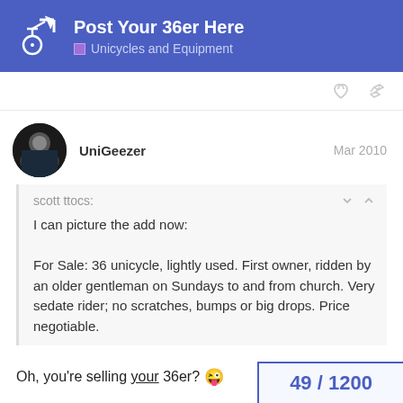Post Your 36er Here — Unicycles and Equipment
UniGeezer  Mar 2010
scott ttocs:
I can picture the add now:
For Sale: 36 unicycle, lightly used. First owner, ridden by an older gentleman on Sundays to and from church. Very sedate rider; no scratches, bumps or big drops. Price negotiable.
Oh, you're selling your 36er? 😜
49 / 1200